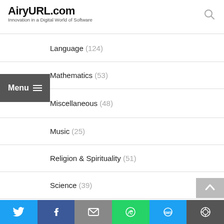AiryURL.com — Innovation in a Digital World of Software
Language (124)
Mathematics (53)
Miscellaneous (48)
Music (25)
Religion & Spirituality (51)
Science (39)
Sports (14)
Teaching Tools (78)